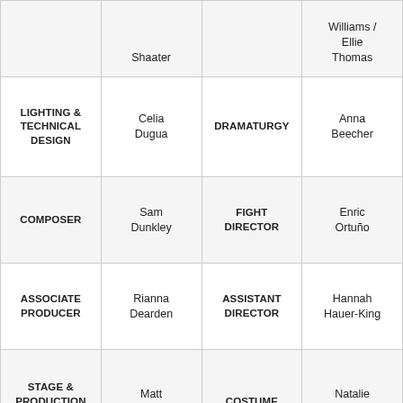|  | Shaater |  | Williams / Ellie Thomas |
| LIGHTING & TECHNICAL DESIGN | Celia Dugua | DRAMATURGY | Anna Beecher |
| COMPOSER | Sam Dunkley | FIGHT DIRECTOR | Enric Ortuño |
| ASSOCIATE PRODUCER | Rianna Dearden | ASSISTANT DIRECTOR | Hannah Hauer-King |
| STAGE & PRODUCTION MANAGER | Matt Nelson | COSTUME | Natalie McCormack |
| MUSIC | Philippa | ADDITIONAL | Yarit Dor / |